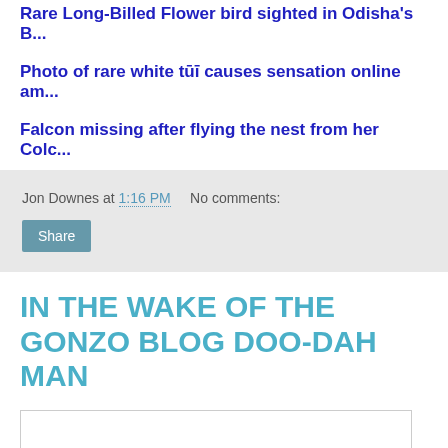Rare Long-Billed Flower bird sighted in Odisha's B...
Photo of rare white tūī causes sensation online am...
Falcon missing after flying the nest from her Colc...
Jon Downes at 1:16 PM   No comments:
IN THE WAKE OF THE GONZO BLOG DOO-DAH MAN
[Figure (illustration): Handwritten-style red brushstroke logo text reading 'Gonzo' on white background]